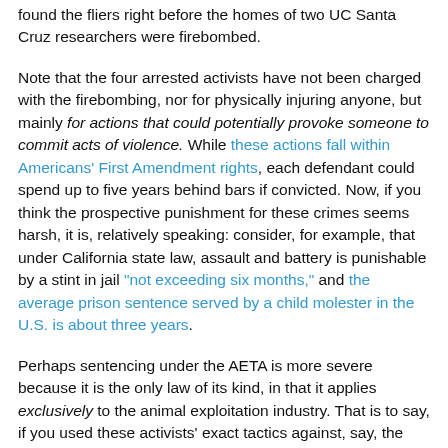found the fliers right before the homes of two UC Santa Cruz researchers were firebombed.
Note that the four arrested activists have not been charged with the firebombing, nor for physically injuring anyone, but mainly for actions that could potentially provoke someone to commit acts of violence. While these actions fall within Americans' First Amendment rights, each defendant could spend up to five years behind bars if convicted. Now, if you think the prospective punishment for these crimes seems harsh, it is, relatively speaking: consider, for example, that under California state law, assault and battery is punishable by a stint in jail "not exceeding six months," and the average prison sentence served by a child molester in the U.S. is about three years.
Perhaps sentencing under the AETA is more severe because it is the only law of its kind, in that it applies exclusively to the animal exploitation industry. That is to say, if you used these activists' exact tactics against, say, the executives of a logging company that was clear-cutting an ancient forest, you would not be penalized as strongly as you would be if